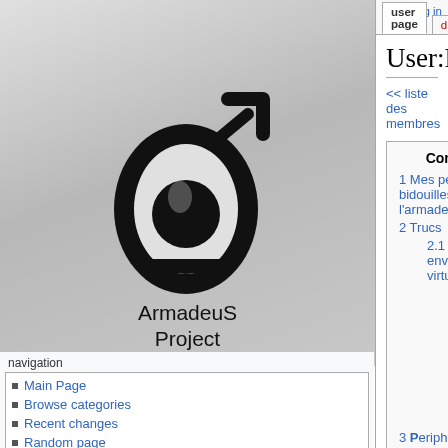[Figure (logo): ArmadeuS Project logo - stylized eye with arrow, black on gray gradient background]
ArmadeuS
Project
navigation
Main Page
Browse categories
Recent changes
Random page
support/community
FAQ
Help
Mailing list
Community portal
Current events
development
Bug tracker
Get latest release
Browse GIT
log in
User:FabienM
<< liste des membres
| Contents |
| --- |
| 1 Mes petites bidouilles avec l'armadeus |
| 2 Trucs |
| 2.1 Python en environnement virtuel |
| 2.1.1 virtualenv et autre tkinter |
| 2.1.2 Python 3.7.4 |
| 2.1.3 virtualenv |
| 3 Peripheral On Demand |
| 4 Participation à la documentation ArmadeuS Project |
| 4.1 Trash |
| 4.2 Projets |
| 5 Liens utiles |
| 6 Somes usefull tricks |
| 6.1 press a button |